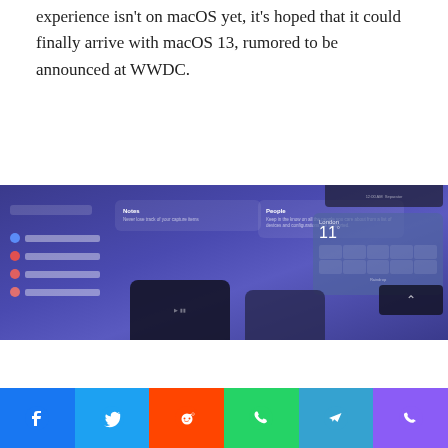experience isn't on macOS yet, it's hoped that it could finally arrive with macOS 13, rumored to be announced at WWDC.
[Figure (screenshot): Screenshot of a macOS-style interface with a dark blue/purple sidebar, panels for 'Notes' and 'People', a weather widget showing London 11°, and various UI controls.]
[Figure (infographic): Social media share bar with buttons: Facebook (blue), Twitter (light blue), Reddit (orange-red), WhatsApp (green), Telegram (cyan-blue), Phone/Viber (purple).]